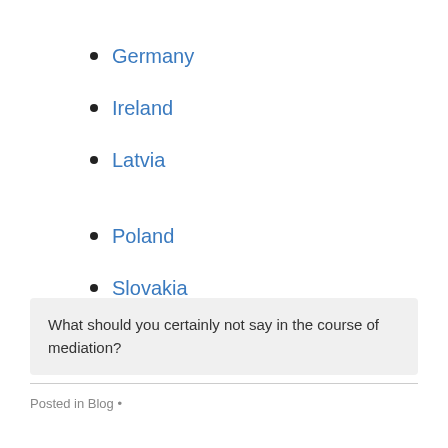Germany
Ireland
Latvia
Poland
Slovakia
Sweden
What should you certainly not say in the course of mediation?
Posted in Blog •